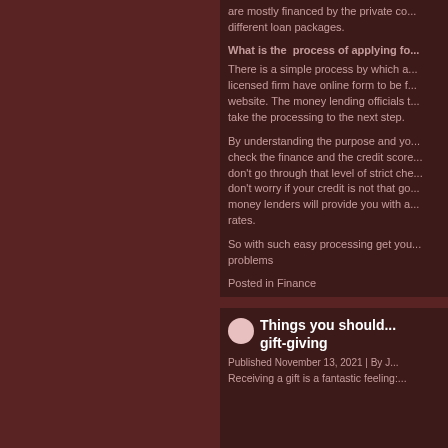are mostly financed by the private co... different loan packages.
What is the process of applying fo...
There is a simple process by which a... licensed firm have online form to be f... website. The money lending officials t... take the processing to the next step.
By understanding the purpose and yo... check the finance and the credit score... don't go through that level of strict che... don't worry if your credit is not that go... money lenders will provide you with a... rates.
So with such easy processing get yo... problems
Posted in Finance
Things you should ... gift-giving
Published November 13, 2021 | By J...
Receiving a gift is a fantastic feeling:...